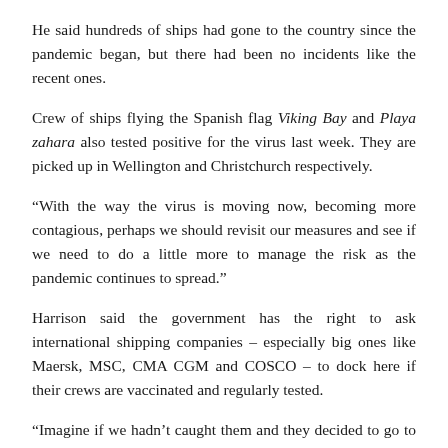He said hundreds of ships had gone to the country since the pandemic began, but there had been no incidents like the recent ones.
Crew of ships flying the Spanish flag Viking Bay and Playa zahara also tested positive for the virus last week. They are picked up in Wellington and Christchurch respectively.
“With the way the virus is moving now, becoming more contagious, perhaps we should revisit our measures and see if we need to do a little more to manage the risk as the pandemic continues to spread.”
Harrison said the government has the right to ask international shipping companies – especially big ones like Maersk, MSC, CMA CGM and COSCO – to dock here if their crews are vaccinated and regularly tested.
“Imagine if we hadn’t caught them and they decided to go to one of our Pacific neighbors, the tragic impact that would have. We did the right thing and attracted them, but the risk is still there. “
He said the governments the ships came from should also be asked about mitigation measures, vaccinations and routine testing.